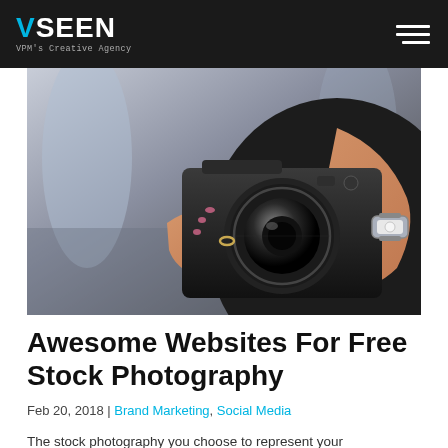VSEEN — VPM's Creative Agency
[Figure (photo): Close-up photo of a woman's hands holding and adjusting a DSLR camera outdoors, with a blurred city background. She wears a ring and a silver watch.]
Awesome Websites For Free Stock Photography
Feb 20, 2018 | Brand Marketing, Social Media
The stock photography you choose to represent your